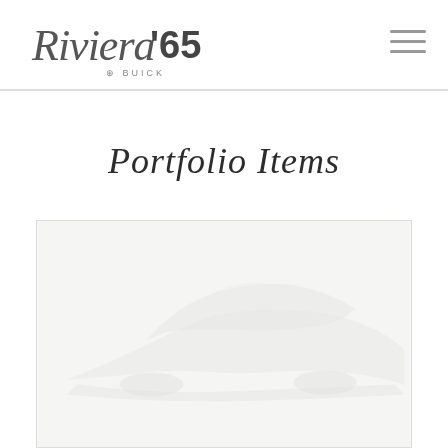Riviera '65 Buick — navigation header with logo and hamburger menu
Portfolio Items
[Figure (photo): Light gray/white portfolio image placeholder showing faint curves suggesting the silhouette of a 1965 Buick Riviera automobile on a light background]